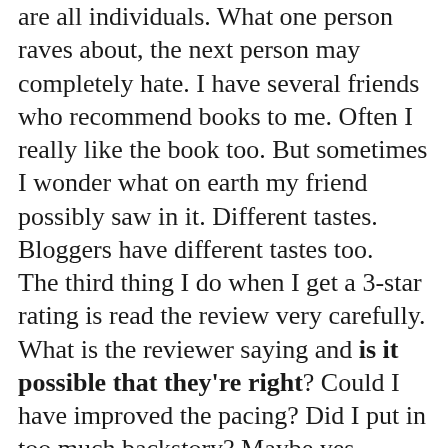are all individuals. What one person raves about, the next person may completely hate. I have several friends who recommend books to me. Often I really like the book too. But sometimes I wonder what on earth my friend possibly saw in it. Different tastes. Bloggers have different tastes too.
The third thing I do when I get a 3-star rating is read the review very carefully. What is the reviewer saying and is it possible that they're right? Could I have improved the pacing? Did I put in too much backstory? Maybe yes, maybe no. But I definitely think about what the reviewer is saying in case I can learn something that will help a future book be that much better. And I appreciate that the blogger took the time and made the effort to review my work -- it's a job I'm not sure I could do.
I think my only concern about a 3-star rating is